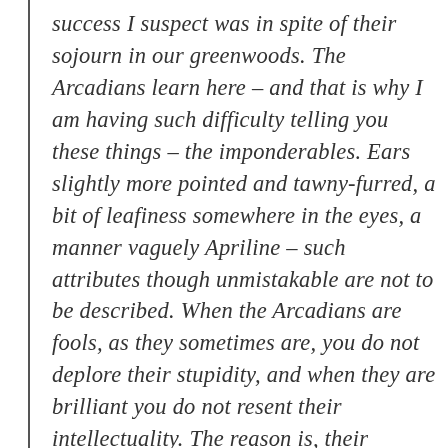success I suspect was in spite of their sojourn in our greenwoods. The Arcadians learn here – and that is why I am having such difficulty telling you these things – the imponderables. Ears slightly more pointed and tawny-furred, a bit of leafiness somewhere in the eyes, a manner vaguely Apriline – such attributes though unmistakable are not to be described. When the Arcadians are fools, as they sometimes are, you do not deplore their stupidity, and when they are brilliant you do not resent their intellectuality. The reason is, their manners – the kind not learned or instilled but happening, the core being